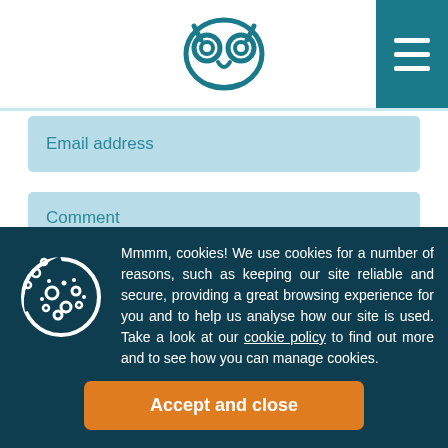Owl logo and navigation menu
Email address
Comment
Mmmm, cookies! We use cookies for a number of reasons, such as keeping our site reliable and secure, providing a great browsing experience for you and to help us analyse how our site is used. Take a look at our cookie policy to find out more and to see how you can manage cookies.
Accept and close